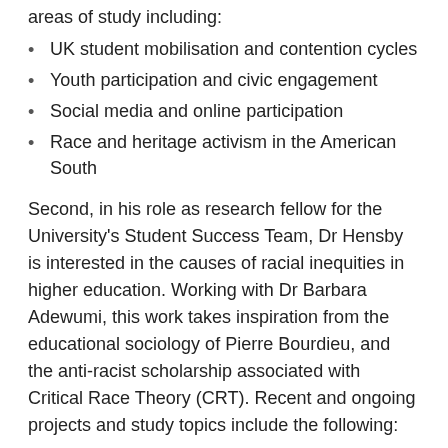areas of study including:
UK student mobilisation and contention cycles
Youth participation and civic engagement
Social media and online participation
Race and heritage activism in the American South
Second, in his role as research fellow for the University's Student Success Team, Dr Hensby is interested in the causes of racial inequities in higher education. Working with Dr Barbara Adewumi, this work takes inspiration from the educational sociology of Pierre Bourdieu, and the anti-racist scholarship associated with Critical Race Theory (CRT). Recent and ongoing projects and study topics include the following:
A 3-year longitudinal project of academic